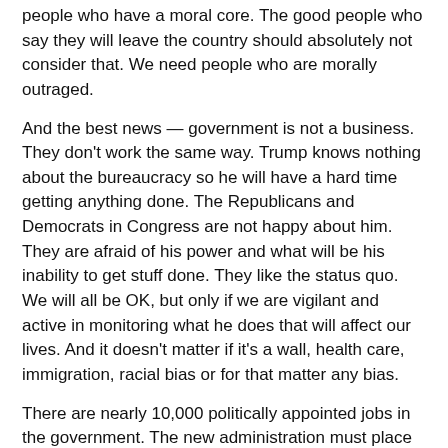people who have a moral core.  The good people who say they will  leave the country should absolutely not consider that.  We need people who are morally outraged.
And the best news  — government is not a business. They don't work the same way. Trump  knows nothing about the bureaucracy so he will have a hard time getting anything done.  The Republicans and Democrats in Congress are not happy about him.  They are afraid of his power and what will be his inability to get stuff done. They like the status quo.  We will all be OK, but  only if we are vigilant and active in monitoring what he does that will affect our lives.  And it doesn't matter if it's a wall, health care, immigration, racial bias or for that matter any bias.
There are nearly 10,000 politically appointed jobs in the government.  The new administration must place people in the jobs.  Trump didn't run the kind of campaign where there were hundreds of talented people who could fill these positions.  He has no clue.  It will be a mess — but only in DC. You know how the US government shuts down for weather but it doesn't matter to anyone else in this great nation. That's what the chaotic government transition will be. And I assume that is the nicest possible...